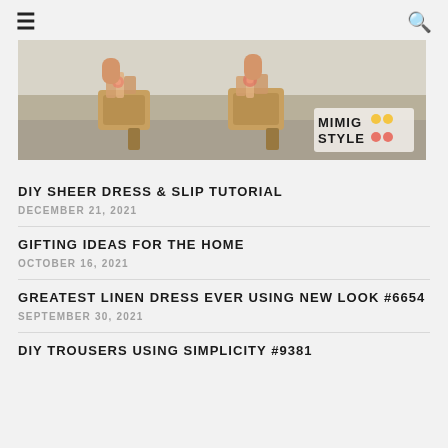☰  🔍
[Figure (photo): Close-up photo of woman's feet in decorative platform heels on a sandy surface, with MIMIG STYLE logo overlay in bottom right]
DIY SHEER DRESS & SLIP TUTORIAL
DECEMBER 21, 2021
GIFTING IDEAS FOR THE HOME
OCTOBER 16, 2021
GREATEST LINEN DRESS EVER USING NEW LOOK #6654
SEPTEMBER 30, 2021
DIY TROUSERS USING SIMPLICITY #9381